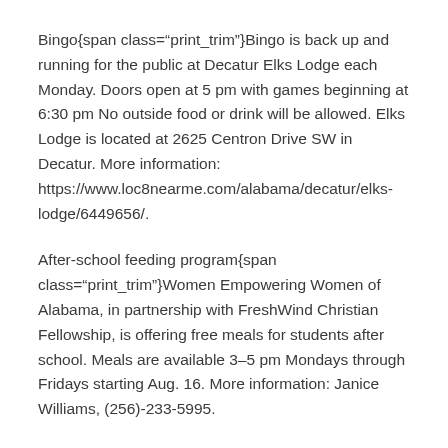Bingo{span class="print_trim"}Bingo is back up and running for the public at Decatur Elks Lodge each Monday. Doors open at 5 pm with games beginning at 6:30 pm No outside food or drink will be allowed. Elks Lodge is located at 2625 Centron Drive SW in Decatur. More information: https://www.loc8nearme.com/alabama/decatur/elks-lodge/6449656/.
After-school feeding program{span class="print_trim"}Women Empowering Women of Alabama, in partnership with FreshWind Christian Fellowship, is offering free meals for students after school. Meals are available 3–5 pm Mondays through Fridays starting Aug. 16. More information: Janice Williams, (256)-233-5995.
Food giveaway{span class="print_trim"}Ebenezer Missionary Baptist Church's food pantry will be open 11 am–1 pm on the third